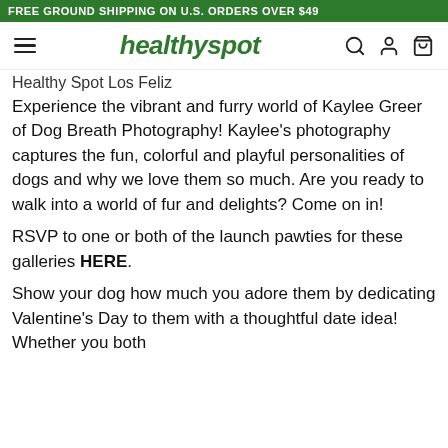FREE GROUND SHIPPING ON U.S. ORDERS OVER $49
healthyspot
Healthy Spot Los Feliz
Experience the vibrant and furry world of Kaylee Greer of Dog Breath Photography! Kaylee's photography captures the fun, colorful and playful personalities of dogs and why we love them so much. Are you ready to walk into a world of fur and delights? Come on in!
RSVP to one or both of the launch pawties for these galleries HERE.
Show your dog how much you adore them by dedicating Valentine's Day to them with a thoughtful date idea! Whether you both